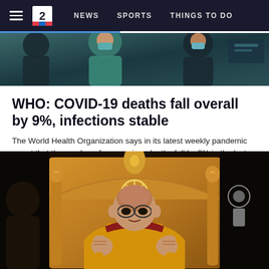NEWS  SPORTS  THINGS TO DO
[Figure (photo): Top news website screenshot showing healthcare/medical workers in teal scrubs]
WHO: COVID-19 deaths fall overall by 9%, infections stable
The World Health Organization says in its latest weekly pandemic report that the number of coronavirus deaths fell by 9% in the last week while...
[Figure (photo): Photo of the Dalai Lama in yellow robes seated on an ornate golden throne with fists raised, speaking or gesturing]